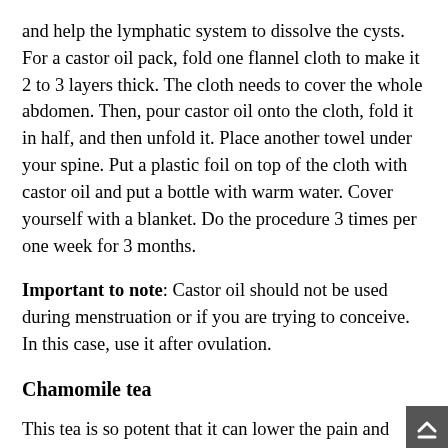and help the lymphatic system to dissolve the cysts. For a castor oil pack, fold one flannel cloth to make it 2 to 3 layers thick. The cloth needs to cover the whole abdomen. Then, pour castor oil onto the cloth, fold it in half, and then unfold it. Place another towel under your spine. Put a plastic foil on top of the cloth with castor oil and put a bottle with warm water. Cover yourself with a blanket. Do the procedure 3 times per one week for 3 months.
Important to note: Castor oil should not be used during menstruation or if you are trying to conceive. In this case, use it after ovulation.
Chamomile tea
This tea is so potent that it can lower the pain and discomfort and the sedative effect will help you relax. This warm drink will also encourage the blood flow in the uterus and pelvis and regulate your menstrual periods. To prepare the tea, mix 2 tsp of dried chamomile and a